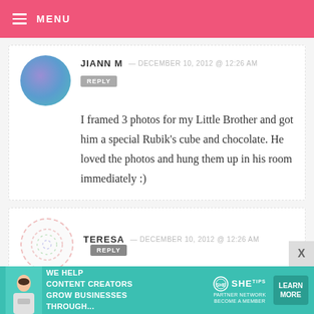MENU
JIANN M — DECEMBER 10, 2012 @ 12:26 AM
REPLY
I framed 3 photos for my Little Brother and got him a special Rubik’s cube and chocolate. He loved the photos and hung them up in his room immediately :)
TERESA — DECEMBER 10, 2012 @ 12:26 AM  REPLY
[Figure (infographic): Advertisement banner: WE HELP CONTENT CREATORS GROW BUSINESSES THROUGH... SHE PARTNER NETWORK BECOME A MEMBER — LEARN MORE button]